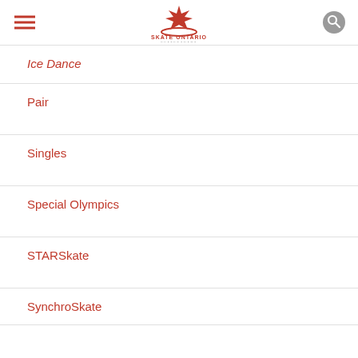Skate Ontario – navigation menu header with hamburger icon, logo, and search icon
Ice Dance
Pair
Singles
Special Olympics
STARSkate
SynchroSkate